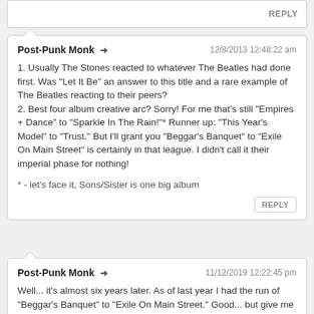REPLY
Post-Punk Monk → 12/8/2013 12:48:22 am
1. Usually The Stones reacted to whatever The Beatles had done first. Was "Let It Be" an answer to this title and a rare example of The Beatles reacting to their peers?
2. Best four album creative arc? Sorry! For me that's still "Empires + Dance" to "Sparkle In The Rain!"* Runner up: "This Year's Model" to "Trust." But I'll grant you "Beggar's Banquet" to "Exile On Main Street" is certainly in that league. I didn't call it their imperial phase for nothing!
* - let's face it, Sons/Sister is one big album
REPLY
Post-Punk Monk → 11/12/2019 12:22:45 pm
Well... it's almost six years later. As of last year I had the run of "Beggar's Banquet" to "Exile On Main Street." Good... but give me early Simple Minds any day!